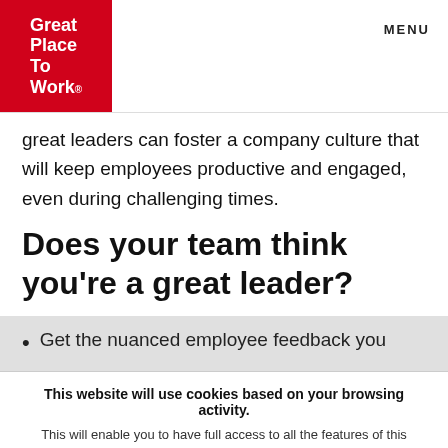Great Place To Work.  MENU
great leaders can foster a company culture that will keep employees productive and engaged, even during challenging times.
Does your team think you’re a great leader?
Get the nuanced employee feedback you
This website will use cookies based on your browsing activity. This will enable you to have full access to all the features of this website. By using this website, you agree we may store and access cookies on your device.
I UNDERSTAND